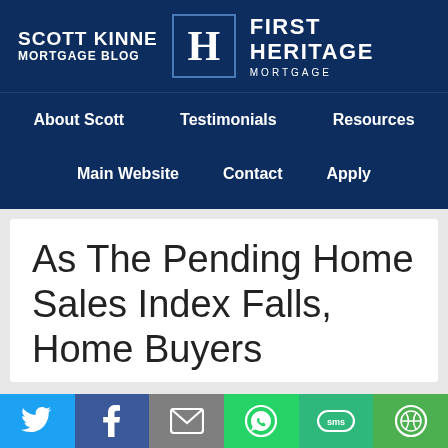SCOTT KINNE MORTGAGE BLOG | FIRST HERITAGE MORTGAGE
About Scott
Testimonials
Resources
Main Website
Contact
Apply
As The Pending Home Sales Index Falls, Home Buyers